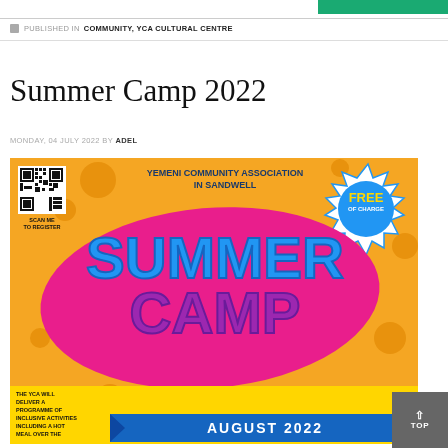PUBLISHED IN COMMUNITY, YCA CULTURAL CENTRE
Summer Camp 2022
MONDAY, 04 JULY 2022 BY ADEL
[Figure (illustration): Summer Camp 2022 flyer for the Yemeni Community Association in Sandwell. Orange background with large blue 'SUMMER CAMP' text on pink blob, QR code top left labelled SCAN ME TO REGISTER, FREE OF CHARGE badge top right in blue/yellow starburst, text describing programme of inclusive activities including a hot meal, bottom shows AUGUST 2022 ribbon.]